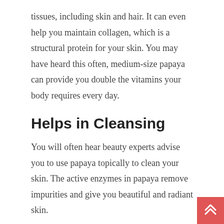tissues, including skin and hair. It can even help you maintain collagen, which is a structural protein for your skin. You may have heard this often, medium-size papaya can provide you double the vitamins your body requires every day.
Helps in Cleansing
You will often hear beauty experts advise you to use papaya topically to clean your skin. The active enzymes in papaya remove impurities and give you beautiful and radiant skin.
Prevents Arthritis◆
Papaya is rich in minerals like potassium, magnesium, copper, and calcium. If you add papaya to your diet regularly and in adequate amounts, you will see a calcium bank b...